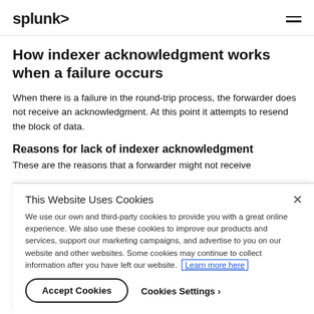splunk>
How indexer acknowledgment works when a failure occurs
When there is a failure in the round-trip process, the forwarder does not receive an acknowledgment. At this point it attempts to resend the block of data.
Reasons for lack of indexer acknowledgment
These are the reasons that a forwarder might not receive
This Website Uses Cookies
We use our own and third-party cookies to provide you with a great online experience. We also use these cookies to improve our products and services, support our marketing campaigns, and advertise to you on our website and other websites. Some cookies may continue to collect information after you have left our website. Learn more here
Accept Cookies
Cookies Settings ›